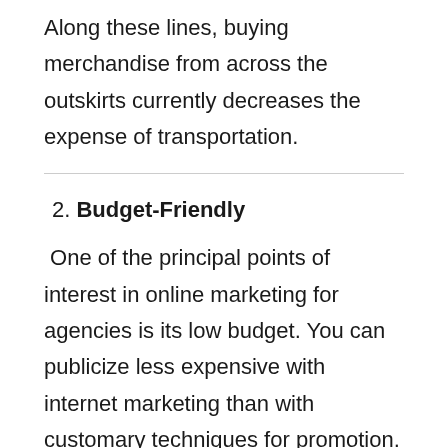Along these lines, buying merchandise from across the outskirts currently decreases the expense of transportation.
2. Budget-Friendly
One of the principal points of interest in online marketing for agencies is its low budget. You can publicize less expensive with internet marketing than with customary techniques for promotion. Online marketing is more reasonable than conventional